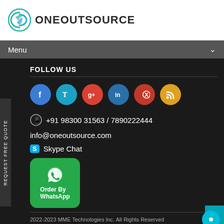[Figure (logo): OneOutsource company logo with circular green/teal icon and bold text ONEOUTSOURCE]
Menu
FOLLOW US
[Figure (illustration): Row of 6 social media icon circles: Facebook (blue), Twitter (blue), Google+ (red), LinkedIn (blue), Pinterest (red), RSS (orange)]
+91 98300 31563 / 7890222444
info@oneoutsource.com
Skype Chat
[Figure (illustration): Green WhatsApp button with phone icon and text 'Order By WhatsApp']
2022-2023 MME Technologies Inc. All Rights Reserved